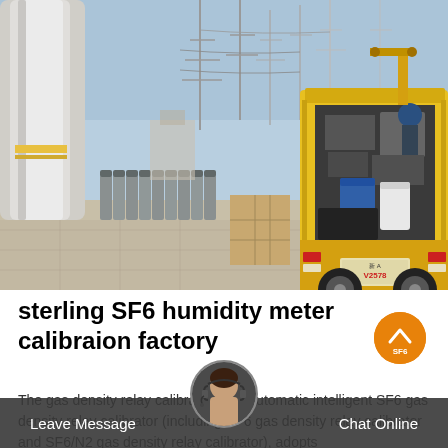[Figure (photo): Outdoor electrical substation with industrial equipment. A yellow service truck/vehicle is parked with its rear open, showing machinery and equipment inside. Rows of gas cylinders are lined up on the ground. Large electrical transmission towers and equipment visible in background under blue sky. License plate reads V2578.]
sterling SF6 humidity meter calibraion factory
The gas density relay calibrator, fully automatic intelligent SF6 gas density relay calibrator (including SF6 gas density relay calibrator and SF6/N2 gas density relay calibrator), adopts